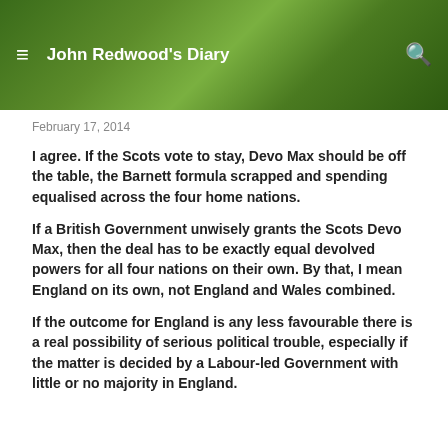John Redwood's Diary
February 17, 2014
I agree. If the Scots vote to stay, Devo Max should be off the table, the Barnett formula scrapped and spending equalised across the four home nations.
If a British Government unwisely grants the Scots Devo Max, then the deal has to be exactly equal devolved powers for all four nations on their own. By that, I mean England on its own, not England and Wales combined.
If the outcome for England is any less favourable there is a real possibility of serious political trouble, especially if the matter is decided by a Labour-led Government with little or no majority in England.